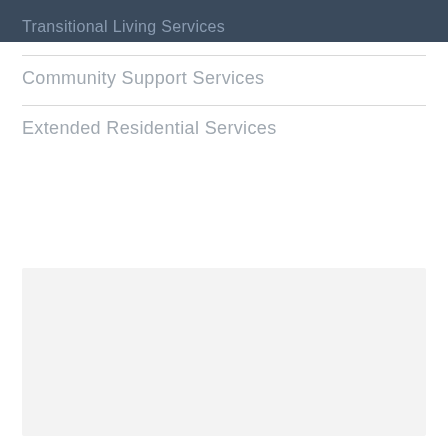Transitional Living Services
Community Support Services
Extended Residential Services
[Figure (other): Light gray rectangular placeholder box in the lower portion of the page]